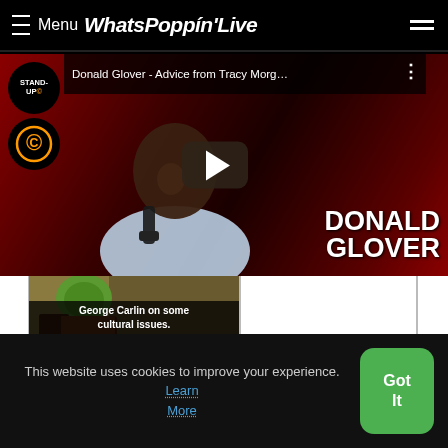≡ Menu WhatsPoppín'Live
[Figure (screenshot): YouTube video thumbnail: Donald Glover - Advice from Tracy Morg... with Stand-Up Comedy Central badge, Comedy Central C logo, play button overlay, and DONALD GLOVER name text on dark red background]
[Figure (photo): Thumbnail of George Carlin on some cultural issues video]
This website uses cookies to improve your experience. Learn More
Got It